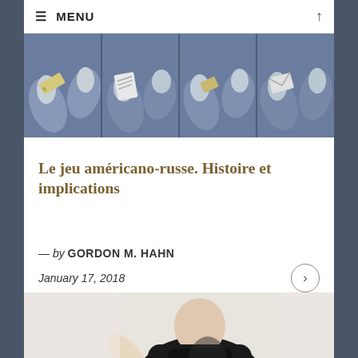≡ MENU
[Figure (illustration): Illustration showing four panels of hands exchanging money and documents, rendered in blue-grey tones]
Le jeu américano-russe. Histoire et implications
— by GORDON M. HAHN
January 17, 2018
[Figure (photo): Photo of a person in a dark suit viewed from behind, with hand raised, against a light background]